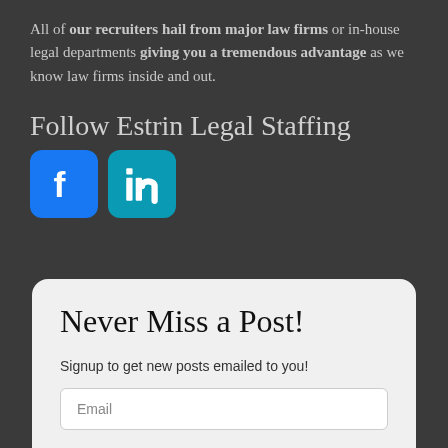All of our recruiters hail from major law firms or in-house legal departments giving you a tremendous advantage as we know law firms inside and out.
Follow Estrin Legal Staffing
[Figure (illustration): Facebook and LinkedIn social media icon buttons]
Never Miss a Post!
Signup to get new posts emailed to you!
Email